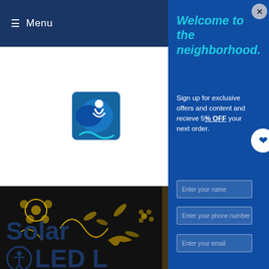≡ Menu
[Figure (logo): Partial blue logo with stylized figure and crescent shapes visible on white background]
[Figure (photo): Black background with gold floral and bird decorative pattern]
Solar
⊙ LED L
Welcome to the neighborhood.
Sign up for exclusive offers and content and recieve 5% OFF your next order.
Enter your name
Enter your phone number
Enter your email